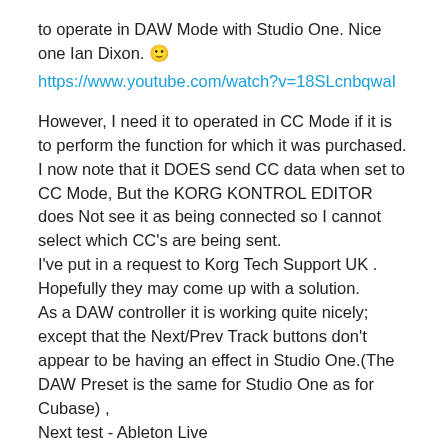to operate in DAW Mode with Studio One. Nice one Ian Dixon. 🙂
https://www.youtube.com/watch?v=18SLcnbqwaI
However, I need it to operated in CC Mode if it is to perform the function for which it was purchased.
I now note that it DOES send CC data when set to CC Mode, But the KORG KONTROL EDITOR does Not see it as being connected so I cannot select which CC's are being sent.
I've put in a request to Korg Tech Support UK . Hopefully they may come up with a solution.
As a DAW controller it is working quite nicely; except that the Next/Prev Track buttons don't appear to be having an effect in Studio One.(The DAW Preset is the same for Studio One as for Cubase) ,
Next test - Ableton Live